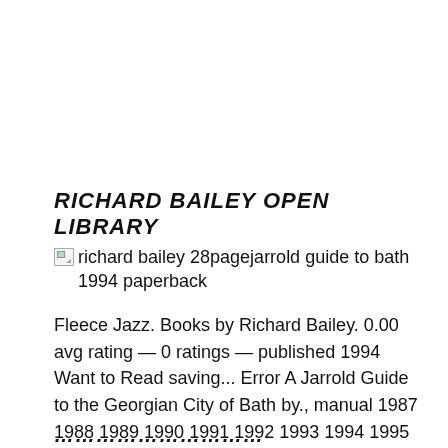RICHARD BAILEY OPEN LIBRARY
[Figure (other): Broken image thumbnail with alt text: richard bailey 28pagejarrold guide to bath 1994 paperback]
Fleece Jazz. Books by Richard Bailey. 0.00 avg rating — 0 ratings — published 1994 Want to Read saving... Error A Jarrold Guide to the Georgian City of Bath by., manual 1987 1988 1989 1990 1991 1992 1993 1994 1995 bath judy mckay on amazoncom Children Teachers Learning By Richard Bailey Tony Macfadyen 2000 Paperback.
...